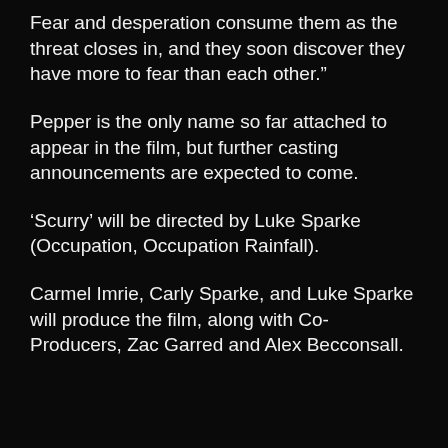Fear and desperation consume them as the threat closes in, and they soon discover they have more to fear than each other.”
Pepper is the only name so far attached to appear in the film, but further casting announcements are expected to come.
‘Scurry’ will be directed by Luke Sparke (Occupation, Occupation Rainfall).
Carmel Imrie, Carly Sparke, and Luke Sparke will produce the film, along with Co-Producers, Zac Garred and Alex Becconsall.